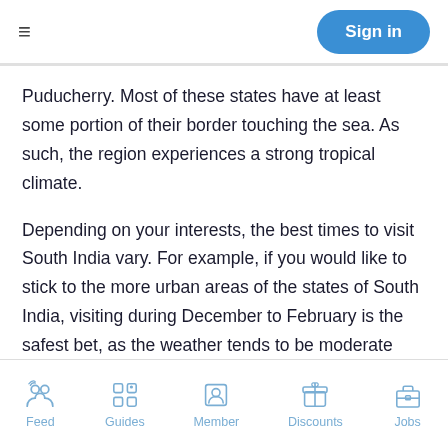Sign in
Puducherry. Most of these states have at least some portion of their border touching the sea. As such, the region experiences a strong tropical climate.
Depending on your interests, the best times to visit South India vary. For example, if you would like to stick to the more urban areas of the states of South India, visiting during December to February is the safest bet, as the weather tends to be moderate and pleasant during this time. However, if you are interested in trekking in the Western Ghats aka, the Sahyadri Mountain range, it is best to visit just after the monsoon, especially in the month of September, when everything is green and springs to life.
Feed | Guides | Member | Discounts | Jobs